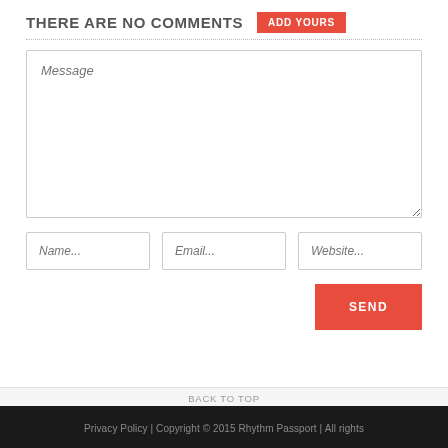THERE ARE NO COMMENTS
ADD YOURS
Message
Name...
Email...
Website...
SEND
BACK TO TOP
Privacy Policy | Copyright © 2015 Rhythm Passport | All rights